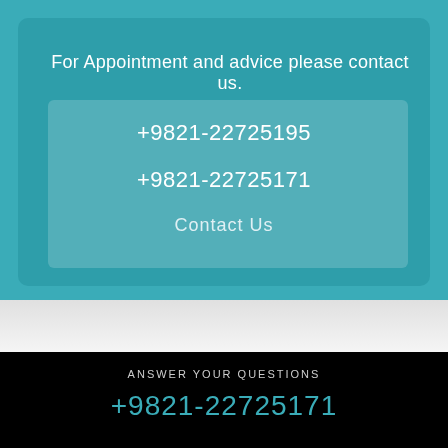For Appointment and advice please contact us.
+9821-22725195
+9821-22725171
Contact Us
ANSWER YOUR QUESTIONS
+9821-22725171